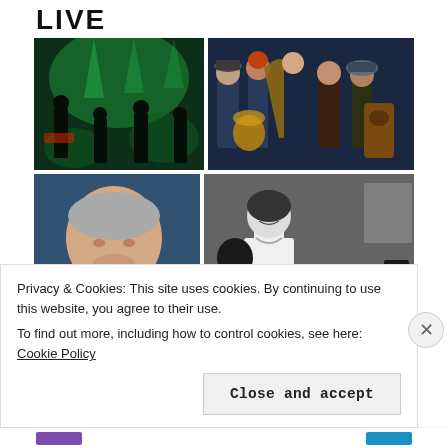LIVE
[Figure (photo): Four-photo grid showing live music performances: top-left is a band on stage with green lighting, top-right is a group of folk musicians with instruments including a harp and hurdy-gurdy, bottom-left is a close-up of a man in a striped shirt, bottom-right is a black-and-white photo of a woman playing bass guitar.]
Privacy & Cookies: This site uses cookies. By continuing to use this website, you agree to their use.
To find out more, including how to control cookies, see here: Cookie Policy
Close and accept